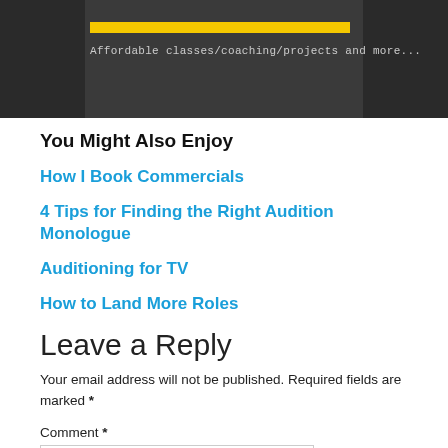[Figure (photo): Dark banner image with group of people faces on left and right sides, yellow horizontal bar and text 'Affordable classes/coaching/projects and more...' in center]
You Might Also Enjoy
How I Book Commercials
4 Tips for Finding the Right Audition Monologue
Auditioning for TV
How to Land More Roles
Leave a Reply
Your email address will not be published. Required fields are marked *
Comment *